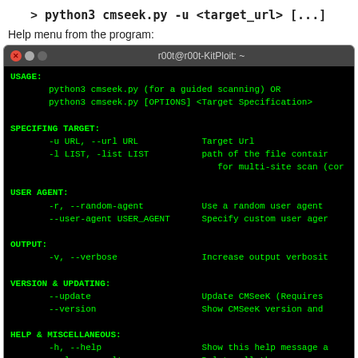> python3 cmseek.py -u <target_url> [...]
Help menu from the program:
[Figure (screenshot): Terminal window showing CMSeeK help menu with usage, target specification, user agent, output, version, help sections and example usage options in green text on black background.]